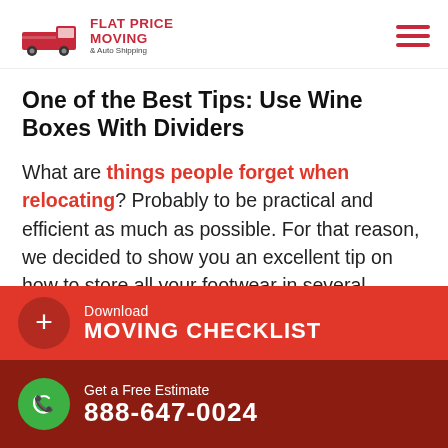[Figure (logo): Flat Price Moving & Auto Shipping logo with truck icon and hamburger menu]
One of the Best Tips: Use Wine Boxes With Dividers
What are things people forget when relocating? Probably to be practical and efficient as much as possible. For that reason, we decided to show you an excellent tip on how to store all your footwear in several
Download MOVING CHECKLIST
Get a Free Estimate 888-647-0024